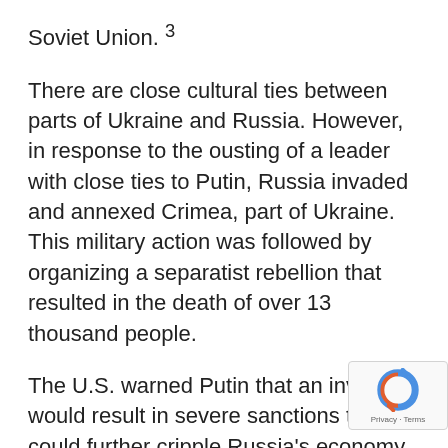Soviet Union. 3
There are close cultural ties between parts of Ukraine and Russia. However, in response to the ousting of a leader with close ties to Putin, Russia invaded and annexed Crimea, part of Ukraine. This military action was followed by organizing a separatist rebellion that resulted in the death of over 13 thousand people.
The U.S. warned Putin that an invasion would result in severe sanctions that could further cripple Russia's economy. Russia already lags many smaller countries economically and is highly dependent on the sale of energy to Europe. Which is likewise heavily reliant on Russia to meet its thirst for energy.